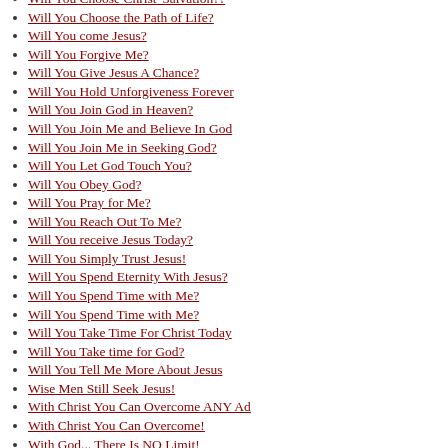Will You Choose Christ' Salvation??
Will You Choose the Path of Life?
Will You come Jesus?
Will You Forgive Me?
Will You Give Jesus A Chance?
Will You Hold Unforgiveness Forever
Will You Join God in Heaven?
Will You Join Me and Believe In God
Will You Join Me in Seeking God?
Will You Let God Touch You?
Will You Obey God?
Will You Pray for Me?
Will You Reach Out To Me?
Will You receive Jesus Today?
Will You Simply Trust Jesus!
Will You Spend Eternity With Jesus?
Will You Spend Time with Me?
Will You Spend Time with Me?
Will You Take Time For Christ Today
Will You Take time for God?
Will You Tell Me More About Jesus
Wise Men Still Seek Jesus!
With Christ You Can Overcome ANY Ad
With Christ You Can Overcome!
With God... There Is NO Limit!
With Jesus, I'm on the Winning Side
With Jesus, You Can Overcome!
With Quality In Mind...
With Safety in Mind
With the Best of Intentions